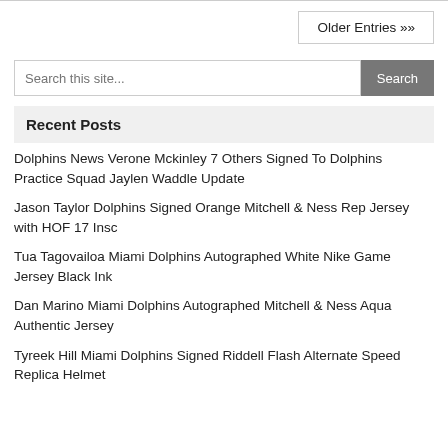Older Entries »»
Search this site...
Recent Posts
Dolphins News Verone Mckinley 7 Others Signed To Dolphins Practice Squad Jaylen Waddle Update
Jason Taylor Dolphins Signed Orange Mitchell & Ness Rep Jersey with HOF 17 Insc
Tua Tagovailoa Miami Dolphins Autographed White Nike Game Jersey Black Ink
Dan Marino Miami Dolphins Autographed Mitchell & Ness Aqua Authentic Jersey
Tyreek Hill Miami Dolphins Signed Riddell Flash Alternate Speed Replica Helmet